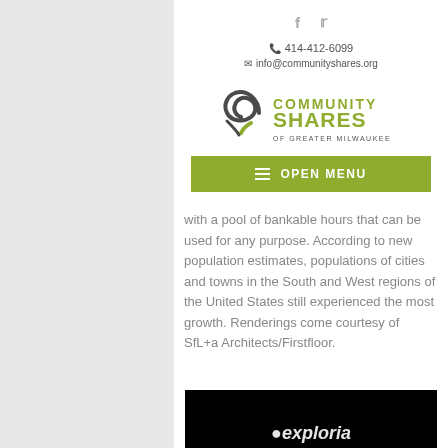f [twitter icon]
414-412-6099
info@communityshares.org
[Figure (logo): Community Shares of Greater Milwaukee logo with swirl graphic and olive green text]
OPEN MENU
with a pool of bankable hours that can be used for any purpose. According to new population estimates, populations of cities and towns in the South and West regions of the United States still experienced the most growth. Renderings come courtesy of SfL+a Architects/Firstfloor.
[Figure (screenshot): Dark/black image with white italic text reading 'exploria' partially visible at bottom]